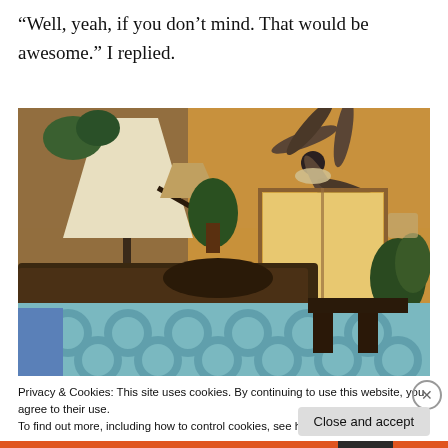“Well, yeah, if you don’t mind. That would be awesome.” I replied.
[Figure (photo): Interior photo of a living room showing a ceiling fan, a floor lamp with large shade, a sofa with teal/white patterned cushions, plants, a window with natural light, and a dining table in the background.]
Privacy & Cookies: This site uses cookies. By continuing to use this website, you agree to their use.
To find out more, including how to control cookies, see here: Cookie Policy
Close and accept